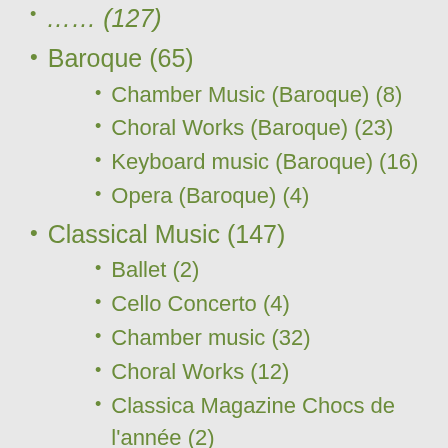…… (127)
Baroque (65)
Chamber Music (Baroque) (8)
Choral Works (Baroque) (23)
Keyboard music (Baroque) (16)
Opera (Baroque) (4)
Classical Music (147)
Ballet (2)
Cello Concerto (4)
Chamber music (32)
Choral Works (12)
Classica Magazine Chocs de l'année (2)
Gramophone Awards (26)
Gramophone Awards 2015 (5)
Gramophone Awards 2016 (8)
Gramophone Awards 2017 (4)
Gramophone Awards 2019 (5)